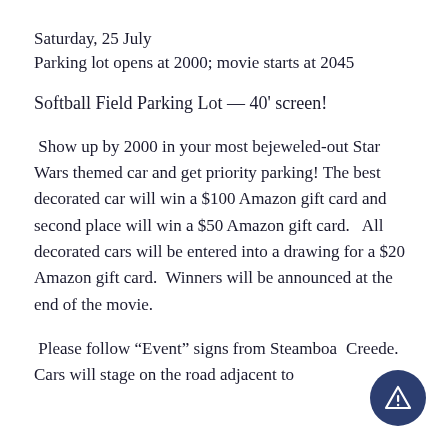Saturday, 25 July
Parking lot opens at 2000; movie starts at 2045
Softball Field Parking Lot — 40' screen!
Show up by 2000 in your most bejeweled-out Star Wars themed car and get priority parking! The best decorated car will win a $100 Amazon gift card and second place will win a $50 Amazon gift card.   All decorated cars will be entered into a drawing for a $20 Amazon gift card.  Winners will be announced at the end of the movie.
Please follow “Event” signs from Steamboat Creede. Cars will stage on the road adjacent to